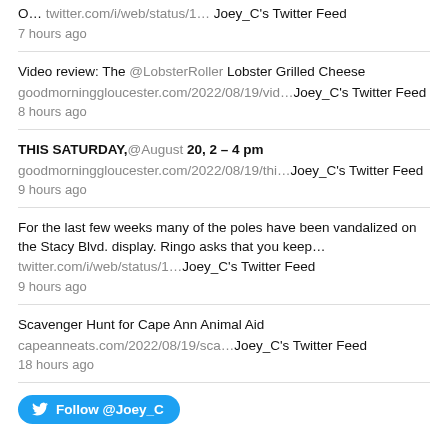O... twitter.com/i/web/status/1.. Joey_C's Twitter Feed 7 hours ago
Video review: The @LobsterRoller Lobster Grilled Cheese goodmorninggloucester.com/2022/08/19/vid.. Joey_C's Twitter Feed 8 hours ago
THIS SATURDAY,@August 20, 2 – 4 pm goodmorninggloucester.com/2022/08/19/thi.. Joey_C's Twitter Feed 9 hours ago
For the last few weeks many of the poles have been vandalized on the Stacy Blvd. display. Ringo asks that you keep... twitter.com/i/web/status/1.. Joey_C's Twitter Feed 9 hours ago
Scavenger Hunt for Cape Ann Animal Aid capeanneats.com/2022/08/19/sca.. Joey_C's Twitter Feed 18 hours ago
Follow @Joey_C